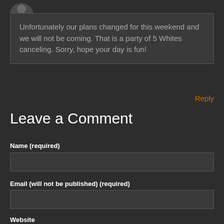[Figure (illustration): Partial avatar/profile icon visible at the top left, dark circular shape]
Unfortunately our plans changed for this weekend and we will not be coming. That is a party of 5 Whites canceling. Sorry, hope your day is fun!
Reply
Leave a Comment
Name (required)
Email (will not be published) (required)
Website